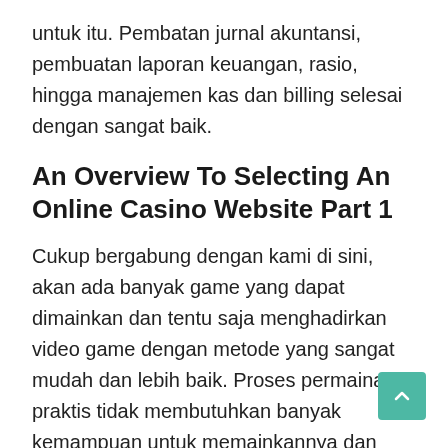untuk itu. Pembatan jurnal akuntansi, pembuatan laporan keuangan, rasio, hingga manajemen kas dan billing selesai dengan sangat baik.
An Overview To Selecting An Online Casino Website Part 1
Cukup bergabung dengan kami di sini, akan ada banyak game yang dapat dimainkan dan tentu saja menghadirkan video game dengan metode yang sangat mudah dan lebih baik. Proses permainan praktis tidak membutuhkan banyak kemampuan untuk memainkannya dan hanya dengan modal minimum, petaruh dapat mengakses taruhan dengan kepuasan. Jadi mainkan taruhan sekarang dengan daftar di situs tepercaya kami, slot game dan dapatkan game menarik lainnya yang tersedia. keluaran sidney Pantau dan kendalikan bisnis secara mudah dan real-time dengan software application akuntansi